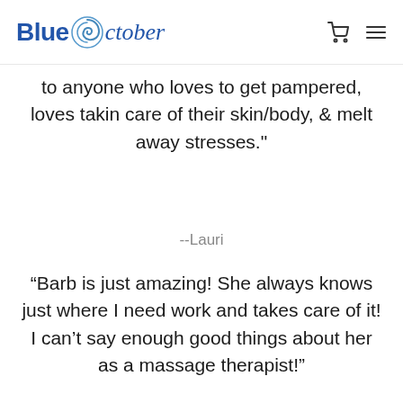Blue October [logo] [cart icon] [menu icon]
to anyone who loves to get pampered, loves takin care of their skin/body, & melt away stresses."
--Lauri
“Barb is just amazing! She always knows just where I need work and takes care of it! I can’t say enough good things about her as a massage therapist!”